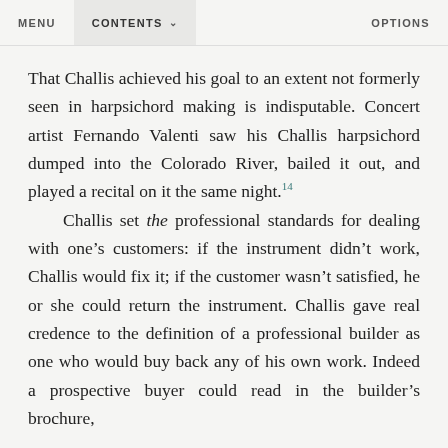MENU   CONTENTS ∨   OPTIONS
That Challis achieved his goal to an extent not formerly seen in harpsichord making is indisputable. Concert artist Fernando Valenti saw his Challis harpsichord dumped into the Colorado River, bailed it out, and played a recital on it the same night.14
Challis set the professional standards for dealing with one's customers: if the instrument didn't work, Challis would fix it; if the customer wasn't satisfied, he or she could return the instrument. Challis gave real credence to the definition of a professional builder as one who would buy back any of his own work. Indeed a prospective buyer could read in the builder's brochure,